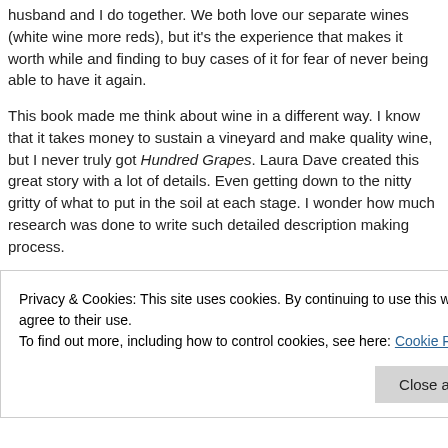husband and I do together. We both love our separate wines (white wine more reds), but it's the experience that makes it worth while and finding to buy cases of it for fear of never being able to have it again.
This book made me think about wine in a different way. I know that it takes money to sustain a vineyard and make quality wine, but I never truly got Hundred Grapes. Laura Dave created this great story with a lot of details. Even getting down to the nitty gritty of what to put in the soil at each stage. I wonder how much research was done to write such detailed description making process.
The third aspect I enjoyed was the family drama and boy is this book packed. Georgia Ford, finds out her fiancé has been keeping a very big secret from out he has a child with his ex girlfriend. To top it off, it's only days before walking down the street, during her last dress fitting, with his ex and his child it from her for months. That's when she bolts from Los Angeles to her family...
Privacy & Cookies: This site uses cookies. By continuing to use this website, you agree to their use.
To find out more, including how to control cookies, see here: Cookie Policy
Close and accept